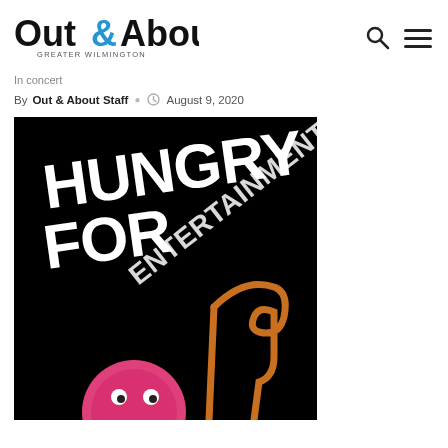[Figure (logo): Out & About Greater Wilmington logo — black bold sans-serif text 'Out' and 'About' with a blue ampersand, subtitle 'GREATER WILMINGTON' in small caps]
In concert
By Out & About Staff  August 9, 2020
[Figure (photo): Promotional image on a black background with large white bold text reading 'HUNGRY FOR ENTERTAINMENT?' and a trombone instrument and a pink circular character/mascot visible at the bottom]